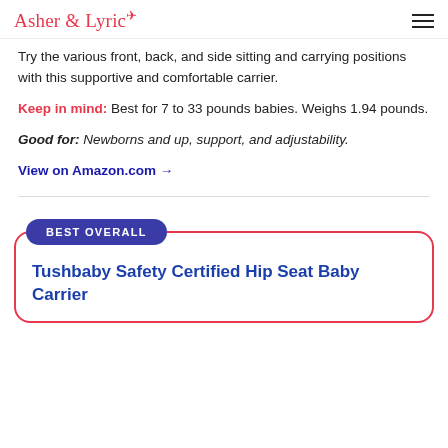Asher & Lyric
Try the various front, back, and side sitting and carrying positions with this supportive and comfortable carrier.
Keep in mind: Best for 7 to 33 pounds babies. Weighs 1.94 pounds.
Good for: Newborns and up, support, and adjustability.
View on Amazon.com →
BEST OVERALL
Tushbaby Safety Certified Hip Seat Baby Carrier